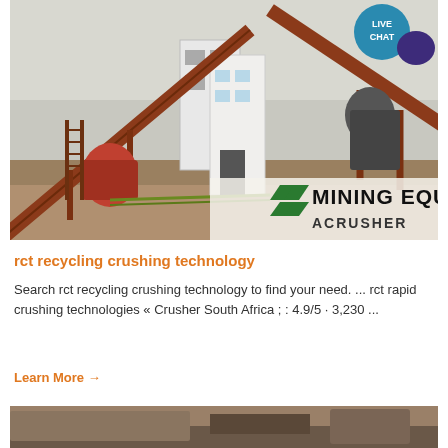[Figure (photo): Mining equipment facility with large conveyor belts, industrial structures, and muddy ground. Text overlay reads 'MINING EQUIPMENT ACRUSHER' with green chevron logo. A 'LIVE CHAT' bubble appears in the top right corner.]
rct recycling crushing technology
Search rct recycling crushing technology to find your need. ... rct rapid crushing technologies « Crusher South Africa ; : 4.9/5 · 3,230 ...
Learn More →
[Figure (photo): Partial view of another mining/crushing equipment photo at the bottom of the page.]